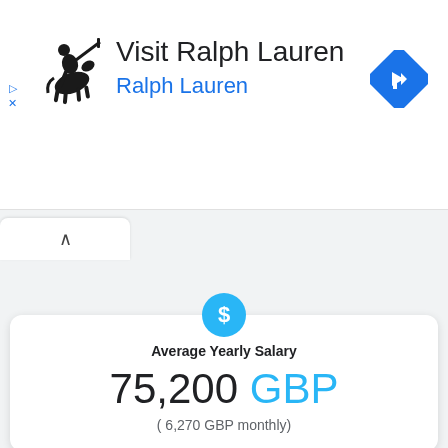[Figure (screenshot): Ralph Lauren advertisement banner with polo player logo, title 'Visit Ralph Lauren', subtitle 'Ralph Lauren' in blue, and a blue navigation arrow icon on the right.]
Average Yearly Salary
75,200 GBP
( 6,270 GBP monthly)